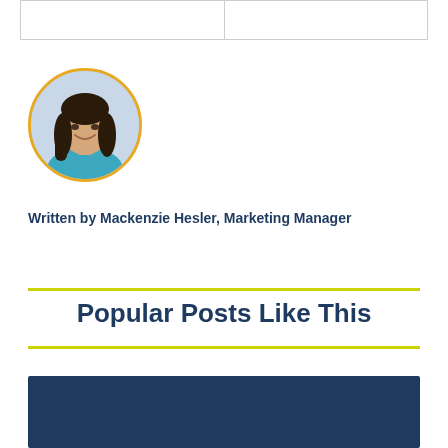|  |  |
| --- | --- |
|   |   |
[Figure (photo): Circular portrait photo of a woman with long dark hair wearing a teal top, framed by a gold/yellow circular border.]
Written by Mackenzie Hesler, Marketing Manager
Popular Posts Like This
[Figure (other): Dark navy blue rectangular card/banner area at the bottom of the page.]